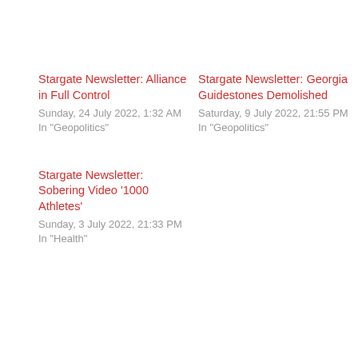Stargate Newsletter: Alliance in Full Control
Sunday, 24 July 2022, 1:32 AM
In "Geopolitics"
Stargate Newsletter: Georgia Guidestones Demolished
Saturday, 9 July 2022, 21:55 PM
In "Geopolitics"
Stargate Newsletter: Sobering Video ‘1000 Athletes’
Sunday, 3 July 2022, 21:33 PM
In "Health"